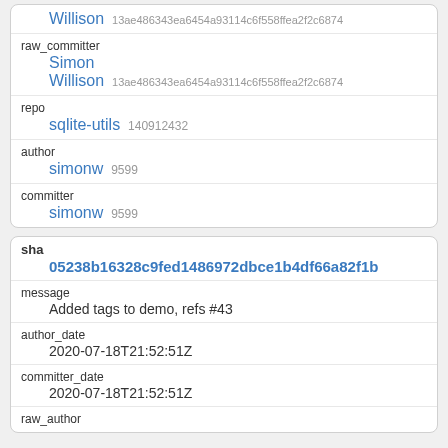| Willison | 13ae486343ea6454a93114c6f558ffea2f2c6874 |
| raw_committer |  |
| Simon |  |
| Willison | 13ae486343ea6454a93114c6f558ffea2f2c6874 |
| repo |  |
| sqlite-utils | 140912432 |
| author |  |
| simonw | 9599 |
| committer |  |
| simonw | 9599 |
| sha | 05238b16328c9fed1486972dbce1b4df66a82f1b |
| message | Added tags to demo, refs #43 |
| author_date | 2020-07-18T21:52:51Z |
| committer_date | 2020-07-18T21:52:51Z |
| raw_author |  |